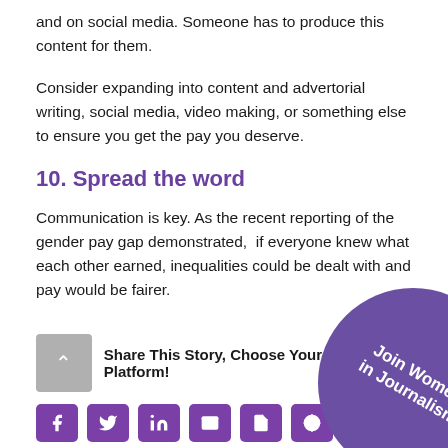and on social media. Someone has to produce this content for them.
Consider expanding into content and advertorial writing, social media, video making, or something else to ensure you get the pay you deserve.
10. Spread the word
Communication is key. As the recent reporting of the gender pay gap demonstrated,  if everyone knew what each other earned, inequalities could be dealt with and pay would be fairer.
Share This Story, Choose Your Platform!
[Figure (illustration): Purple circular badge with text 'Join Women in Journalism' rotated diagonally]